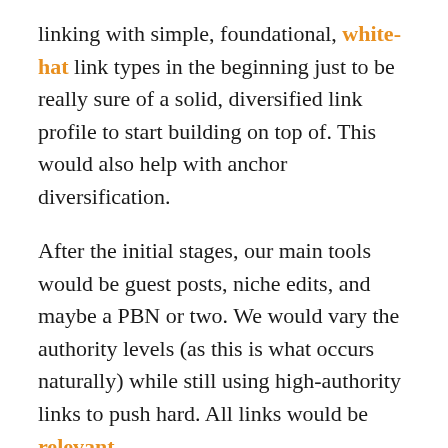linking with simple, foundational, white-hat link types in the beginning just to be really sure of a solid, diversified link profile to start building on top of. This would also help with anchor diversification.
After the initial stages, our main tools would be guest posts, niche edits, and maybe a PBN or two. We would vary the authority levels (as this is what occurs naturally) while still using high-authority links to push hard. All links would be relevant.
We would become more aggressive over time in our anchor selection as well as our target